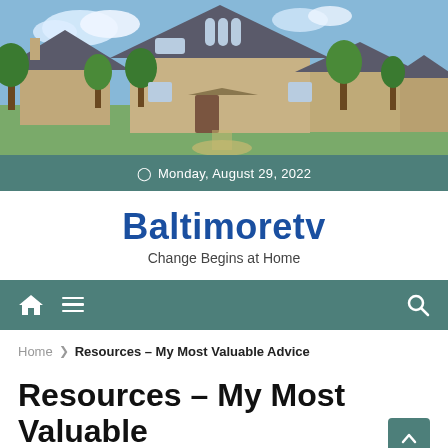[Figure (photo): Exterior photo of a large modern house with stone facade, pointed roof with skylights, surrounded by trees and garden under a partly cloudy sky]
Monday, August 29, 2022
Baltimoretv
Change Begins at Home
Navigation bar with home icon, menu icon, and search icon
Home › Resources – My Most Valuable Advice
Resources – My Most Valuable